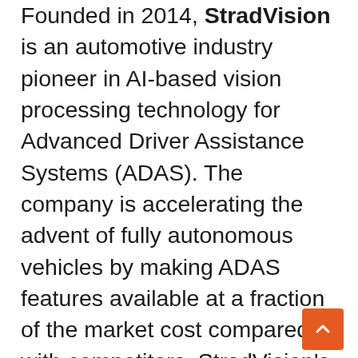Founded in 2014, StradVision is an automotive industry pioneer in AI-based vision processing technology for Advanced Driver Assistance Systems (ADAS). The company is accelerating the advent of fully autonomous vehicles by making ADAS features available at a fraction of the market cost compared with competitors. StradVision's SVNet is being deployed on 50+ vehicle models in partnership with 9 OEMs and powers 13 million ADAS & Autonomous Vehicles worldwide and is serviced by over 170 employees in Seoul, San Jose, Tokyo, and Munich. The company received the 2020 Autonomous Vehicle Technology ACES Award in Autonomy (Software Category). In addition, StradVision's software is certified to the ISO 9001:2015